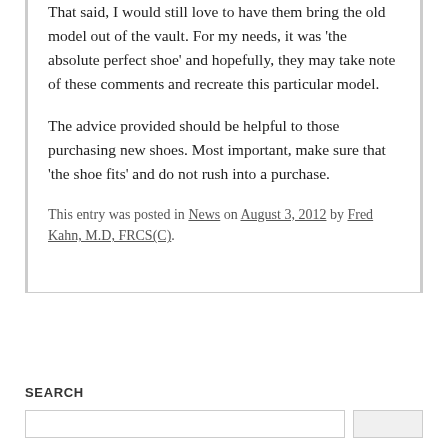That said, I would still love to have them bring the old model out of the vault. For my needs, it was 'the absolute perfect shoe' and hopefully, they may take note of these comments and recreate this particular model.
The advice provided should be helpful to those purchasing new shoes. Most important, make sure that 'the shoe fits' and do not rush into a purchase.
This entry was posted in News on August 3, 2012 by Fred Kahn, M.D, FRCS(C).
SEARCH